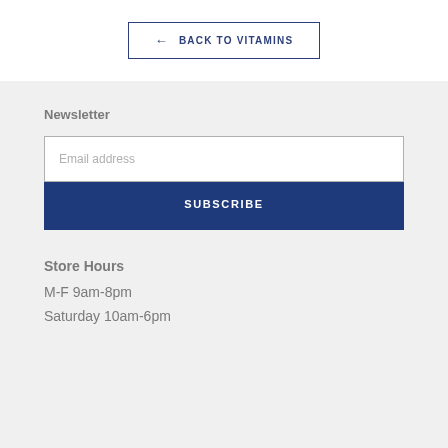← BACK TO VITAMINS
Newsletter
Email address
SUBSCRIBE
Store Hours
M-F 9am-8pm
Saturday 10am-6pm